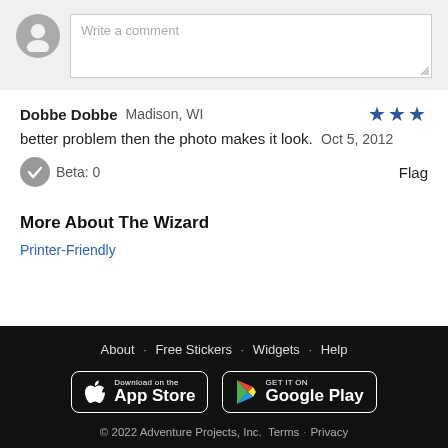[Figure (screenshot): Comment input area with avatar icon and text field placeholder 'Write a comment']
Dobbe Dobbe   Madison, WI   ★★★
better problem then the photo makes it look.   Oct 5, 2012
Beta: 0   Flag
More About The Wizard
Printer-Friendly
About · Free Stickers · Widgets · Help
Download on the App Store | GET IT ON Google Play
© 2022 Adventure Projects, Inc.  Terms · Privacy